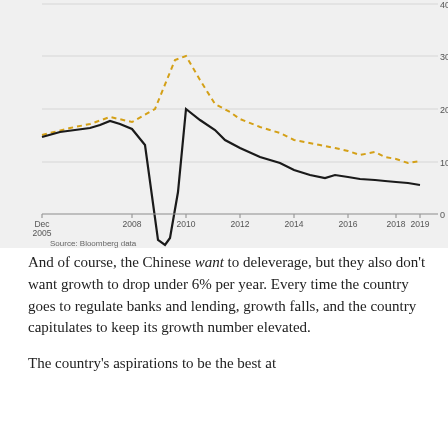[Figure (line-chart): Two-line chart showing trends from Dec 2005 to 2019. One dashed yellow/gold line and one solid black line. The gold line peaks around 2009-2010 near 35, then declines to around 10 by 2019. The black line dips sharply negative around 2009, peaks around 2010 near 20, then declines to around 5 by 2019. Y-axis shows values 0, 10, 20, 30, 40. X-axis shows Dec 2005, 2008, 2010, 2012, 2014, 2016, 2018, 2019. Source: Bloomberg data.]
And of course, the Chinese want to deleverage, but they also don't want growth to drop under 6% per year. Every time the country goes to regulate banks and lending, growth falls, and the country capitulates to keep its growth number elevated.
The country's aspirations to be the best at